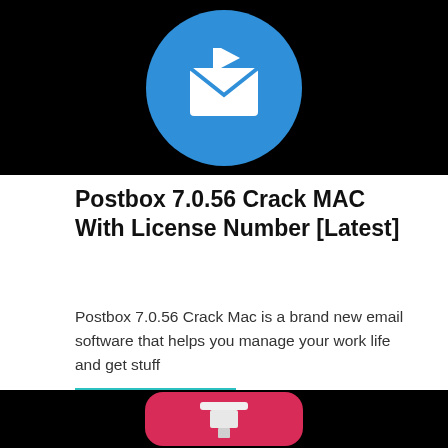[Figure (logo): Postbox app icon: blue circle with white envelope/flag icon on black background]
Postbox 7.0.56 Crack MAC With License Number [Latest]
Postbox 7.0.56 Crack Mac is a brand new email software that helps you manage your work life and get stuff
Continue reading »
[Figure (photo): App icon with a white Lightning connector cable on pink/red rounded rectangle background, black background]